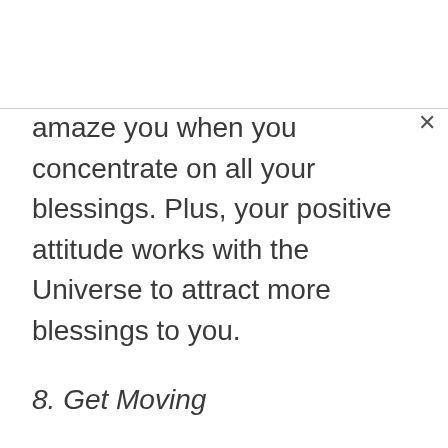amaze you when you concentrate on all your blessings. Plus, your positive attitude works with the Universe to attract more blessings to you.
8. Get Moving
Self-care tips like regular exercise can't be ignored. Even if you get outside and walk for a half-hour a day, you're strengthening your muscles and joints. Incorporate small